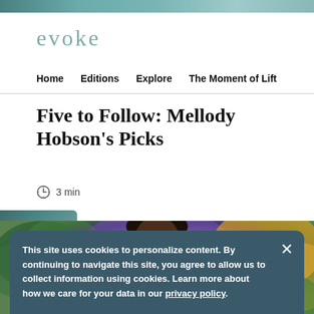evoke
Home  Editions  Explore  The Moment of Lift
Five to Follow: Mellody Hobson's Picks
3 min
[Figure (photo): Photo of Mellody Hobson against a colorful abstract background with greens, purples, and golds]
This site uses cookies to personalize content. By continuing to navigate this site, you agree to allow us to collect information using cookies. Learn more about how we care for your data in our privacy policy.